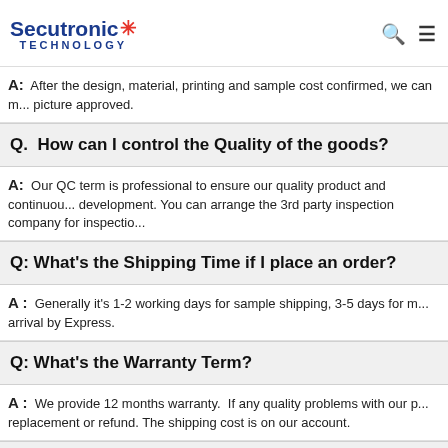Secutronic TECHNOLOGY
A: After the design, material, printing and sample cost confirmed, we can m... picture approved.
Q. How can I control the Quality of the goods?
A: Our QC term is professional to ensure our quality product and continuous development. You can arrange the 3rd party inspection company for inspectio...
Q: What's the Shipping Time if I place an order?
A: Generally it's 1-2 working days for sample shipping, 3-5 days for m... arrival by Express.
Q: What's the Warranty Term?
A: We provide 12 months warranty. If any quality problems with our p... replacement or refund. The shipping cost is on our account.
Q:What Shipping Way is better for us?
A: For small order, express will be the best, it is fast and convenient fo... better... collect them from Airport. For urgent orders, we su... directly... et you good price with DHL, UPS, Fedex or TNT.